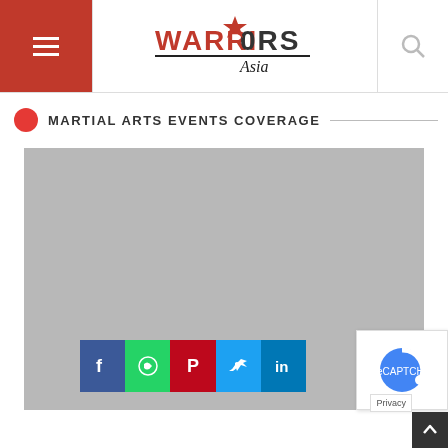Warriors Asia — navigation header with hamburger menu, logo, and search icon
MARTIAL ARTS EVENTS COVERAGE
[Figure (photo): Large gray placeholder image area for a martial arts event photo]
[Figure (infographic): Social share buttons row: Facebook, WhatsApp, Pinterest, Twitter, LinkedIn]